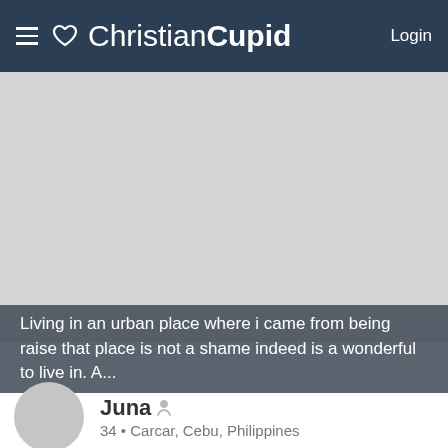≡ ♡ ChristianCupid Login
[Figure (photo): Large grey placeholder profile photo area]
Living in an urban place where i came from being raise that place is not a shame indeed is a wonderful to live in. A...
Juna
34 • Carcar, Cebu, Philippines